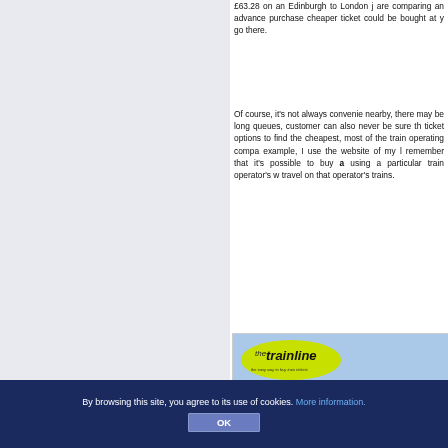£63.28 on an Edinburgh to London journey, are comparing an advance purchase ticket, a cheaper ticket could be bought at your local go there.
Of course, it's not always convenient if no nearby, there may be long queues, customer can also never be sure that ticket options to find the cheapest, most of the train operating companies, example, I use the website of my local remember that it's possible to buy any ticket using a particular train operator's website to travel on that operator's trains.
[Figure (screenshot): Screenshot of the Trainline website (thetrainline.com) showing the logo, navigation options including Business Services and Buying Tickets, a prompt asking how the customer would like to receive their ticket, and a delivery option for First Class Post at Only £1.]
By browsing this site, you agree to its use of cookies. More information.
OK